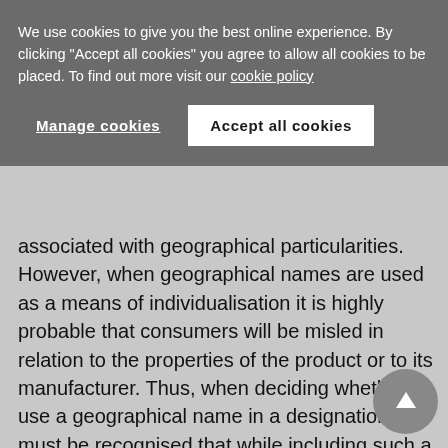We use cookies to give you the best online experience. By clicking "Accept all cookies" you agree to allow all cookies to be placed. To find out more visit our cookie policy
Manage cookies
Accept all cookies
associated with geographical particularities. However, when geographical names are used as a means of individualisation it is highly probable that consumers will be misled in relation to the properties of the product or to its manufacturer. Thus, when deciding whether to use a geographical name in a designation, it must be recognised that while including such a specific element can strengthen the position of the rights holder in a competitive